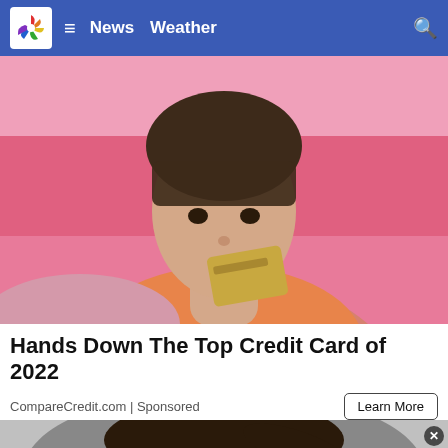NBC News Weather
[Figure (photo): Young woman with dark hair and bangs holding a gold credit card near her face, against a pink background, wearing an orange top]
Hands Down The Top Credit Card of 2022
CompareCredit.com | Sponsored
Learn More
[Figure (photo): Partial image of a woman with dark hair in a ponytail, head bowed, against a grey background, with a circular close button in the corner]